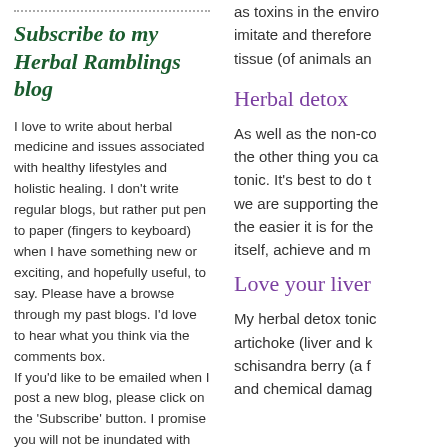Subscribe to my Herbal Ramblings blog
I love to write about herbal medicine and issues associated with healthy lifestyles and holistic healing. I don't write regular blogs, but rather put pen to paper (fingers to keyboard) when I have something new or exciting, and hopefully useful, to say. Please have a browse through my past blogs. I'd love to hear what you think via the comments box.
If you'd like to be emailed when I post a new blog, please click on the 'Subscribe' button. I promise you will not be inundated with posts and/or trivia!
as toxins in the enviro imitate and therefore tissue (of animals an
Herbal detox
As well as the non-co the other thing you ca tonic. It's best to do t we are supporting the the easier it is for the itself, achieve and m
Love your liver
My herbal detox tonic artichoke (liver and k schisandra berry (a f and chemical damag